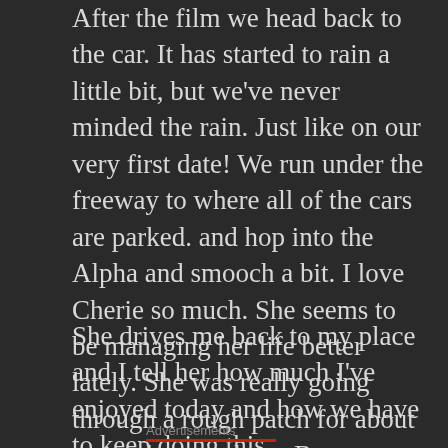After the film we head back to the car. It has started to rain a little bit, but we've never minded the rain. Just like on our very first date! We run under the freeway to where all of the cars are parked. and hop into the Alpha and smooch a bit. I love Cherie so much. She seems to be managing her life better lately. She was really going through a rough patch for about a month or so there. But everything seems to be back on track and my chill, sweet soul sister is back.
She drives me back to my place and I tell her how much I've enjoyed today and how we have to keep doing this.
Advertisements